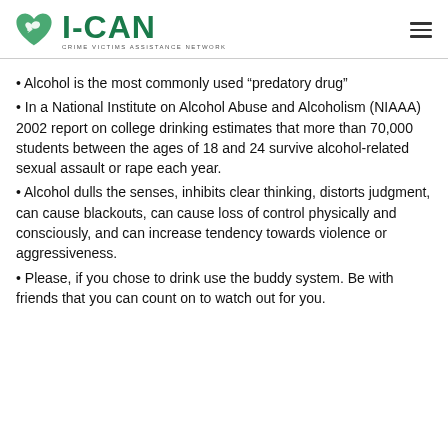I-CAN — Crime Victims Assistance Network
Alcohol is the most commonly used “predatory drug”
In a National Institute on Alcohol Abuse and Alcoholism (NIAAA) 2002 report on college drinking estimates that more than 70,000 students between the ages of 18 and 24 survive alcohol-related sexual assault or rape each year.
Alcohol dulls the senses, inhibits clear thinking, distorts judgment, can cause blackouts, can cause loss of control physically and consciously, and can increase tendency towards violence or aggressiveness.
Please, if you chose to drink use the buddy system. Be with friends that you can count on to watch out for you.